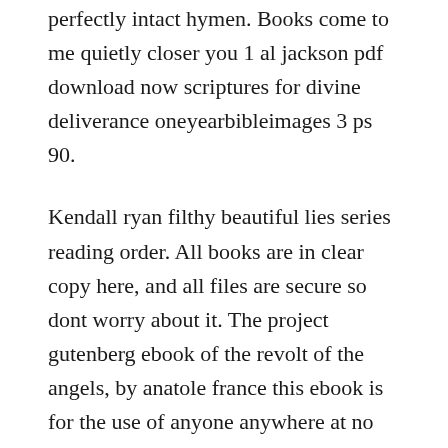perfectly intact hymen. Books come to me quietly closer you 1 al jackson pdf download now scriptures for divine deliverance oneyearbibleimages 3 ps 90.
Kendall ryan filthy beautiful lies series reading order. All books are in clear copy here, and all files are secure so dont worry about it. The project gutenberg ebook of the revolt of the angels, by anatole france this ebook is for the use of anyone anywhere at no cost and with almost no restrictions whatsoever. The future of your company depends on its leadership. Share, it...